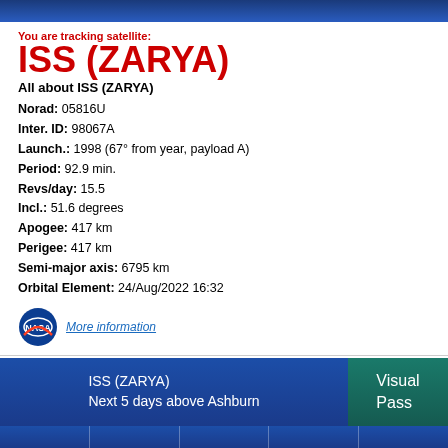You are tracking satellite:
ISS (ZARYA)
All about ISS (ZARYA)
Norad: 05816U
Inter. ID: 98067A
Launch.: 1998 (67° from year, payload A)
Period: 92.9 min.
Revs/day: 15.5
Incl.: 51.6 degrees
Apogee: 417 km
Perigee: 417 km
Semi-major axis: 6795 km
Orbital Element: 24/Aug/2022 16:32
More information
ISS (ZARYA)
Next 5 days above Ashburn
Visual Pass